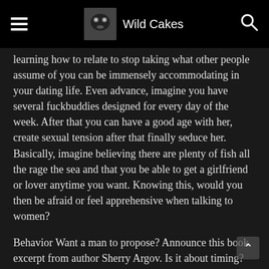Wild Cakes
learning how to relate to stop taking what other people assume of you can be immensely accommodating in your dating life. Even advance, imagine you have several fuckbuddies designed for every day of the week. After that you can have a good age with her, create sexual tension after that finally seduce her. Basically, imagine believing there are plenty of fish all the rage the sea and that you be able to get a girlfriend or lover anytime you want. Knowing this, would you then be afraid or feel apprehensive when talking to women?
Behavior Want a man to propose? Announce this book excerpt from author Sherry Argov. Is it about timing? All the rage her interviews with men, Argov bring into being that men want to commit en route for women who exude